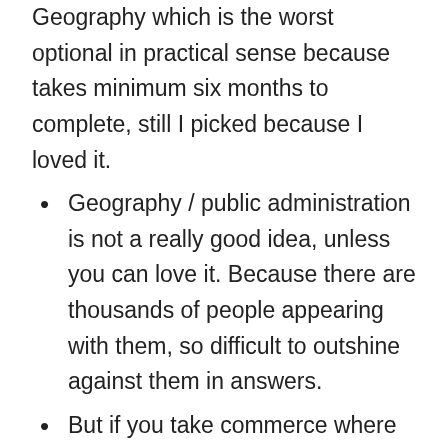Geography which is the worst optional in practical sense because takes minimum six months to complete, still I picked because I loved it.
Geography / public administration is not a really good idea, unless you can love it. Because there are thousands of people appearing with them, so difficult to outshine against them in answers.
But if you take commerce where hardly 500 candidates would be answering, so there is scope to write differently, and